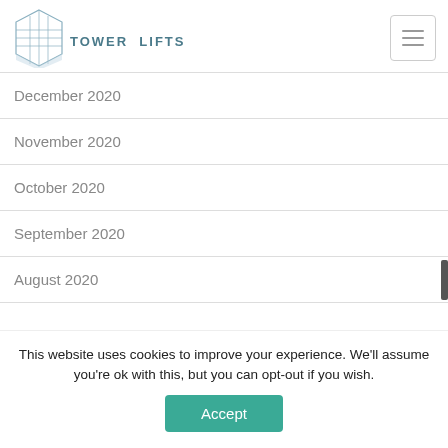[Figure (logo): Tower Lifts logo with stylized building/elevator icon and text TOWER LIFTS]
December 2020
November 2020
October 2020
September 2020
August 2020
This website uses cookies to improve your experience. We'll assume you're ok with this, but you can opt-out if you wish.
Accept